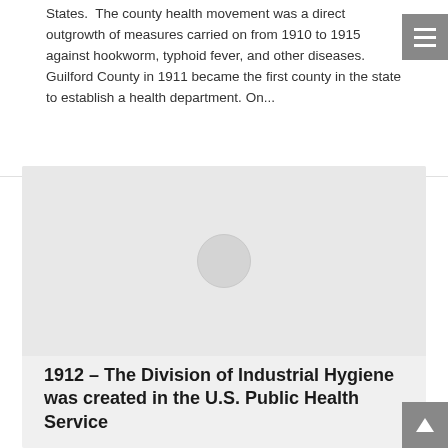States. The county health movement was a direct outgrowth of measures carried on from 1910 to 1915 against hookworm, typhoid fever, and other diseases. Guilford County in 1911 became the first county in the state to establish a health department. On...
[Figure (photo): Image placeholder with a loading circle indicator on a light grey background]
1912 – The Division of Industrial Hygiene was created in the U.S. Public Health Service